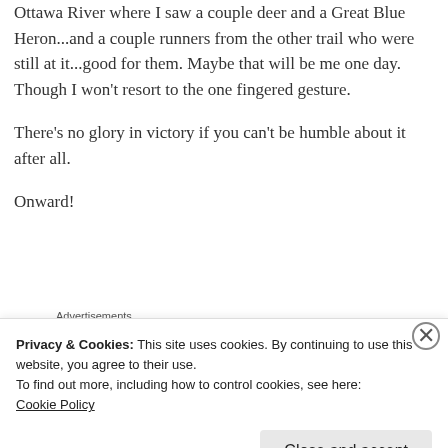Ottawa River where I saw a couple deer and a Great Blue Heron...and a couple runners from the other trail who were still at it...good for them. Maybe that will be me one day. Though I won't resort to the one fingered gesture.
There's no glory in victory if you can't be humble about it after all.
Onward!
[Figure (screenshot): Advertisement banner with blue-purple gradient background and white bold text reading 'Simplified pricing for']
Privacy & Cookies: This site uses cookies. By continuing to use this website, you agree to their use.
To find out more, including how to control cookies, see here:
Cookie Policy
Close and accept